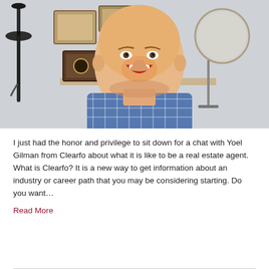[Figure (photo): A smiling bald man wearing a blue and white checkered shirt, sitting in front of a wall with framed plaques and awards. A coat rack with an umbrella is visible on the left side.]
I just had the honor and privilege to sit down for a chat with Yoel Gilman from Clearfo about what it is like to be a real estate agent. What is Clearfo? It is a new way to get information about an industry or career path that you may be considering starting. Do you want…
Read More